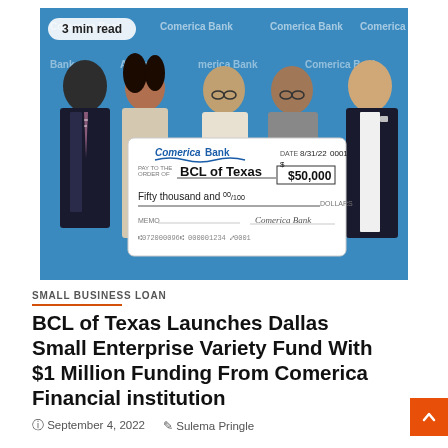[Figure (photo): Five people standing in front of a Comerica Bank branded backdrop, holding a large oversized check made out to BCL of Texas for $50,000, dated 8/31/22, from Comerica Bank.]
3 min read
SMALL BUSINESS LOAN
BCL of Texas Launches Dallas Small Enterprise Variety Fund With $1 Million Funding From Comerica Financial institution
September 4, 2022   Sulema Pringle
[Figure (photo): Partial view of another photo at the bottom of the page.]